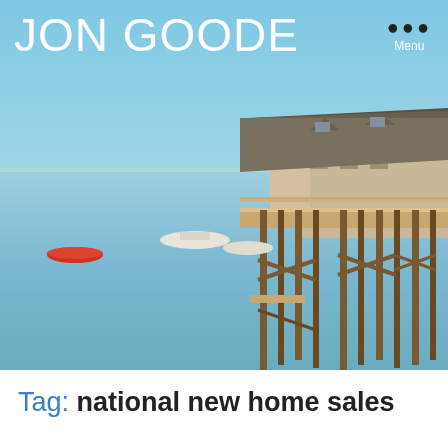JON GOODE  ••• Menu
[Figure (photo): Coastal harbor scene with a wooden pier/dock structure supporting a shingle-roofed building, calm blue water, small boats including a red rowboat, under a clear blue sky.]
Tag: national new home sales